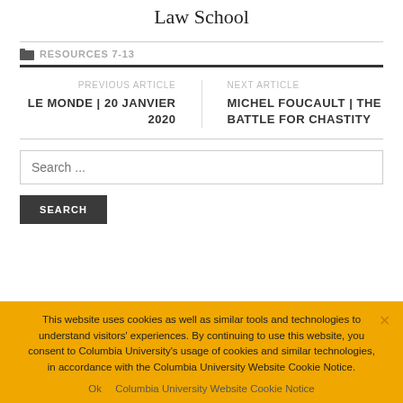Law School
RESOURCES 7-13
PREVIOUS ARTICLE
LE MONDE | 20 JANVIER 2020
NEXT ARTICLE
MICHEL FOUCAULT | THE BATTLE FOR CHASTITY
Search ...
SEARCH
This website uses cookies as well as similar tools and technologies to understand visitors' experiences. By continuing to use this website, you consent to Columbia University's usage of cookies and similar technologies, in accordance with the Columbia University Website Cookie Notice.
Ok   Columbia University Website Cookie Notice